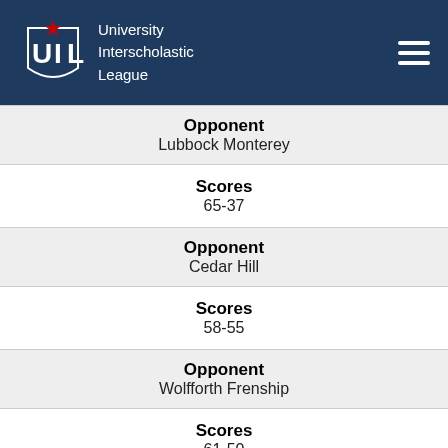University Interscholastic League
| Opponent | Scores |
| --- | --- |
| Lubbock Monterey | 65-37 |
| Cedar Hill | 58-55 |
| Wolfforth Frenship | 61-50 |
| Lubbock Coronado |  |